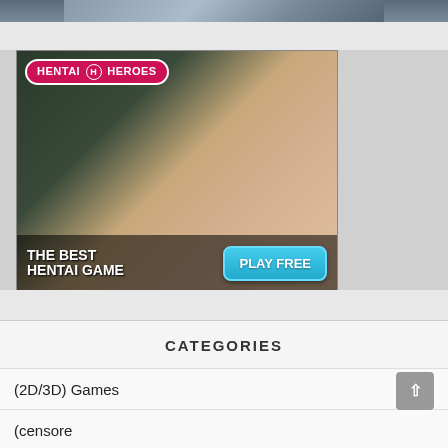[Figure (illustration): Partial view of an anime-style illustration at top of page]
[Figure (illustration): Hentai Heroes advertisement banner featuring anime-style illustration with text 'THE BEST HENTAI GAME' and a 'PLAY FREE' button]
CATEGORIES
(2D/3D) Games
(censore)